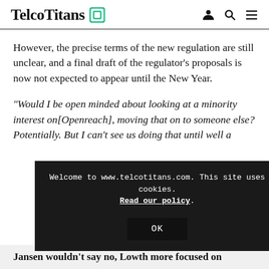TelcoTitans
However, the precise terms of the new regulation are still unclear, and a final draft of the regulator’s proposals is now not expected to appear until the New Year.
“Would I be open minded about looking at a minority interest on[Openreach], moving that on to someone else? Potentially. But I can’t see us doing that until well a[fter the regulatory process has been completed with Ofcom, A...]
[Figure (screenshot): Cookie consent overlay: 'Welcome to www.telcotitans.com. This site uses cookies. Read our policy.' with OK button]
Jansen wouldn’t say no, Lowth more focused on